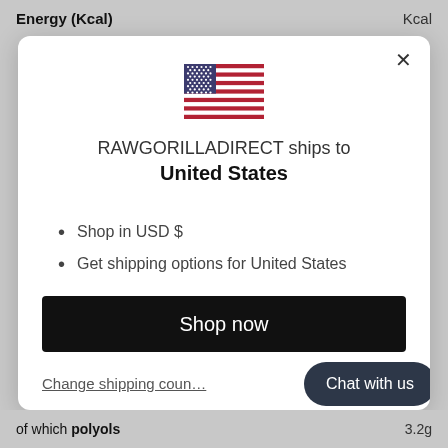Energy (Kcal)
Kcal
[Figure (illustration): US flag SVG illustration inside a modal dialog]
RAWGORILLADIRECT ships to United States
Shop in USD $
Get shipping options for United States
Shop now
Change shipping coun…
Chat with us
of which polyols
3.2g